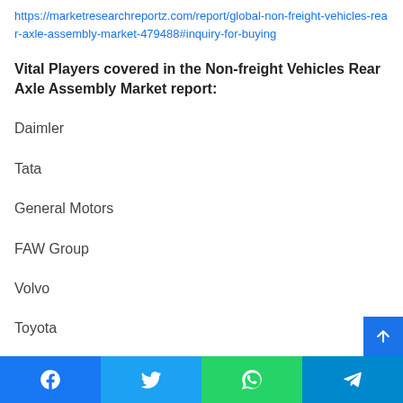https://marketresearchreportz.com/report/global-non-freight-vehicles-rear-axle-assembly-market-479488#inquiry-for-buying
Vital Players covered in the Non-freight Vehicles Rear Axle Assembly Market report:
Daimler
Tata
General Motors
FAW Group
Volvo
Toyota